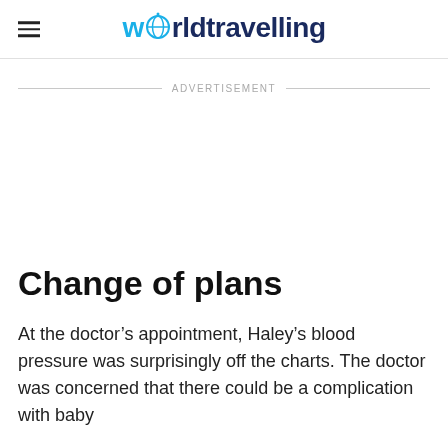worldtravelling
ADVERTISEMENT
Change of plans
At the doctor's appointment, Haley's blood pressure was surprisingly off the charts. The doctor was concerned that there could be a complication with baby